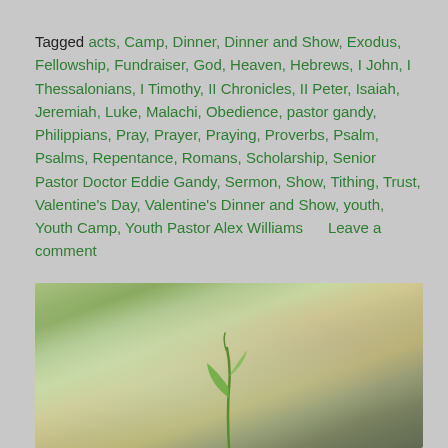Tagged acts, Camp, Dinner, Dinner and Show, Exodus, Fellowship, Fundraiser, God, Heaven, Hebrews, I John, I Thessalonians, I Timothy, II Chronicles, II Peter, Isaiah, Jeremiah, Luke, Malachi, Obedience, pastor gandy, Philippians, Pray, Prayer, Praying, Proverbs, Psalm, Psalms, Repentance, Romans, Scholarship, Senior Pastor Doctor Eddie Gandy, Sermon, Show, Tithing, Trust, Valentine's Day, Valentine's Dinner and Show, youth, Youth Camp, Youth Pastor Alex Williams      Leave a comment
[Figure (photo): Close-up photo of a small green seedling or plant shoot emerging from blurred ground, with soft bokeh background in greens and browns.]